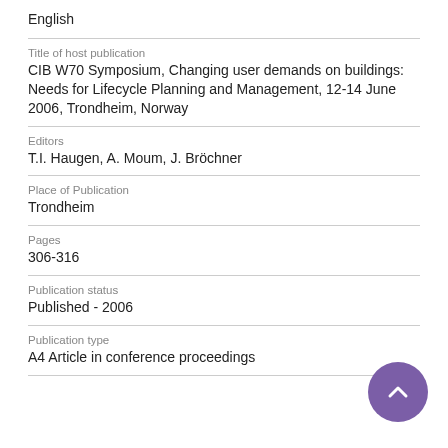English
Title of host publication
CIB W70 Symposium, Changing user demands on buildings: Needs for Lifecycle Planning and Management, 12-14 June 2006, Trondheim, Norway
Editors
T.I. Haugen, A. Moum, J. Bröchner
Place of Publication
Trondheim
Pages
306-316
Publication status
Published - 2006
Publication type
A4 Article in conference proceedings